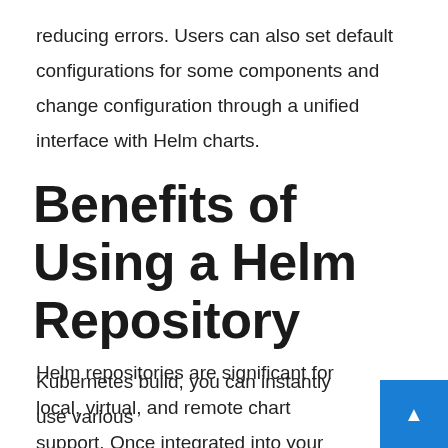reducing errors. Users can also set default configurations for some components and change configuration through a unified interface with Helm charts.
Benefits of Using a Helm Repository
Helm repositories are significant for local, virtual, and remote chart support. Once integrated into your Kubernetes build, you can instantly use various